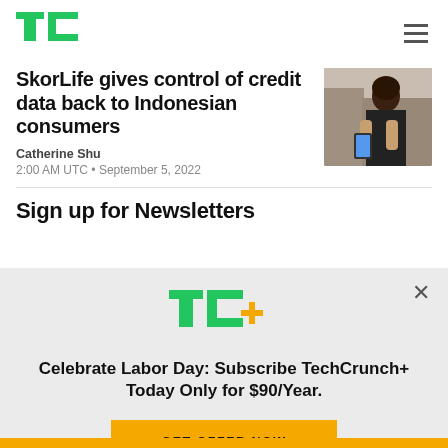TechCrunch logo and navigation
SkorLife gives control of credit data back to Indonesian consumers
Catherine Shu
2:00 AM UTC • September 5, 2022
[Figure (photo): Woman looking at a phone on a street]
Sign up for Newsletters
[Figure (logo): TC+ logo in green and yellow]
Celebrate Labor Day: Subscribe TechCrunch+ Today Only for $90/Year.
GET OFFER NOW